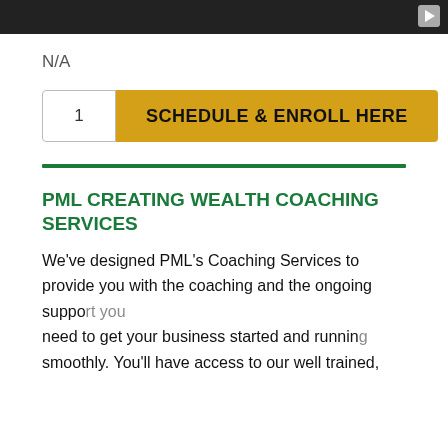[Figure (screenshot): Dark video player bar with play button on the right]
N/A
[Figure (other): Quantity input box showing '1' and a yellow button labeled 'SCHEDULE & ENROLL HERE']
PML CREATING WEALTH COACHING SERVICES
We've designed PML's Coaching Services to provide you with the coaching and the ongoing support you need to get your business started and running smoothly. You'll have access to our well trained,